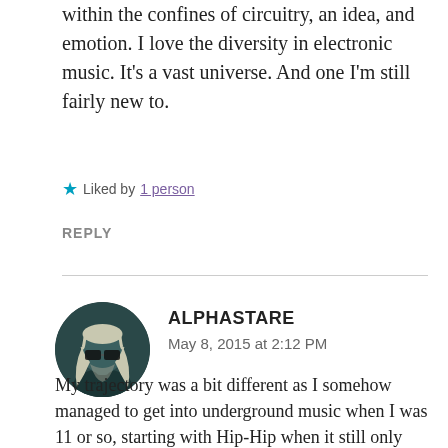within the confines of circuitry, an idea, and emotion. I love the diversity in electronic music. It's a vast universe. And one I'm still fairly new to.
★ Liked by 1 person
REPLY
[Figure (photo): Circular avatar image of user ALPHASTARE, showing a figure with long hair and sunglasses in a dark teal/monochrome style]
ALPHASTARE
May 8, 2015 at 2:12 PM
My trajectory was a bit different as I somehow managed to get into underground music when I was 11 or so, starting with Hip-Hip when it still only existed in the wild (circa 83-85) and soon after I got into Hardcore and punk, I was an 80's skate rat